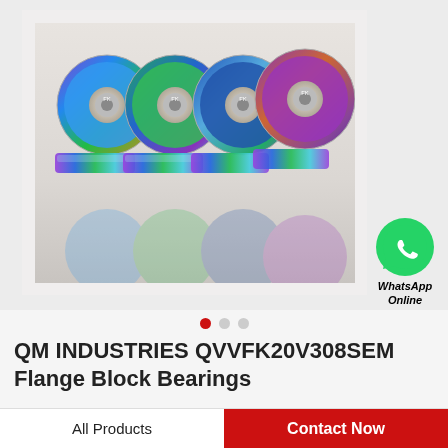[Figure (photo): Four colorful skateboard/inline bearings with iridescent rainbow metallic bodies and colored shields (blue, green, blue, purple), arranged in a row on a reflective surface with their reflections visible below.]
[Figure (logo): WhatsApp green circle icon with phone handset, labeled WhatsApp Online]
QM INDUSTRIES QVVFK20V308SEM Flange Block Bearings
All Products
Contact Now